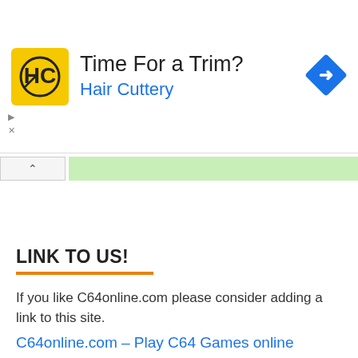[Figure (advertisement): Hair Cuttery advertisement banner with yellow HC logo square, text 'Time For a Trim?' and 'Hair Cuttery' in blue, and a blue diamond-shaped arrow icon on the right]
LINK TO US!
If you like C64online.com please consider adding a link to this site.
C64online.com – Play C64 Games online